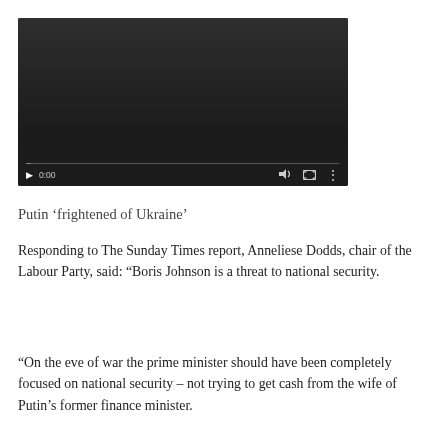[Figure (screenshot): Embedded video player with dark background, showing playback controls including play button, 0:00 timestamp, volume icon, fullscreen icon, and more options icon, with a progress bar at the bottom.]
Putin ‘frightened of Ukraine’
Responding to The Sunday Times report, Anneliese Dodds, chair of the Labour Party, said: “Boris Johnson is a threat to national security.
“On the eve of war the prime minister should have been completely focused on national security – not trying to get cash from the wife of Putin’s former finance minister.